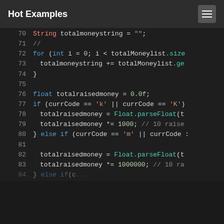Hot Examples
[Figure (screenshot): Code snippet showing Java source code lines 70-84 with syntax highlighting on dark background. Lines show string and float variable declarations, for loop, if/else if conditions with character comparisons, and Float.parseFloat calls with multiplication by 1000 and 1000000.]